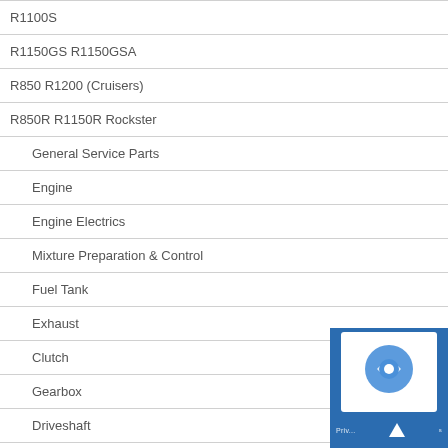R1100S
R1150GS R1150GSA
R850 R1200 (Cruisers)
R850R R1150R Rockster
General Service Parts
Engine
Engine Electrics
Mixture Preparation & Control
Fuel Tank
Exhaust
Clutch
Gearbox
Driveshaft
Front Forks